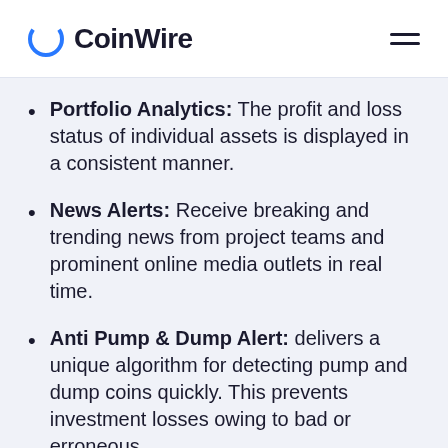CoinWire
Portfolio Analytics: The profit and loss status of individual assets is displayed in a consistent manner.
News Alerts: Receive breaking and trending news from project teams and prominent online media outlets in real time.
Anti Pump & Dump Alert: delivers a unique algorithm for detecting pump and dump coins quickly. This prevents investment losses owing to bad or erroneous